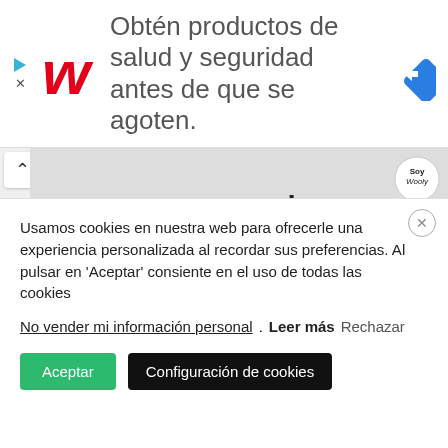[Figure (screenshot): Walgreens advertisement banner with red W logo, text 'Obtén productos de salud y seguridad antes de que se agoten.' and blue diamond navigation icon]
[Figure (screenshot): Partial webpage image showing 'montaje' text with Soy Weekly badge, followed by black bars obscuring content]
Usamos cookies en nuestra web para ofrecerle una experiencia personalizada al recordar sus preferencias. Al pulsar en 'Aceptar' consiente en el uso de todas las cookies
No vender mi información personal. Leer más Rechazar
Aceptar  Configuración de cookies